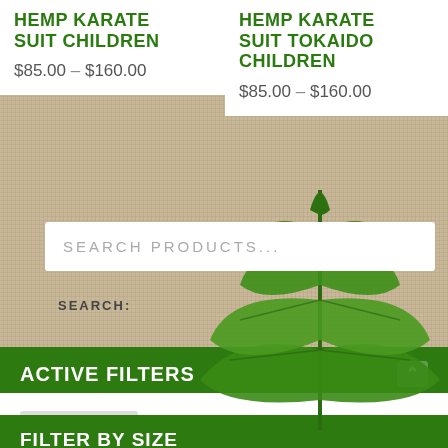HEMP KARATE SUIT CHILDREN
$85.00 – $160.00
HEMP KARATE SUIT TOKAIDO CHILDREN
$85.00 – $160.00
SEARCH PRODUCTS...
SEARCH:
ACTIVE FILTERS
× SIZE 000
FILTER BY SIZE